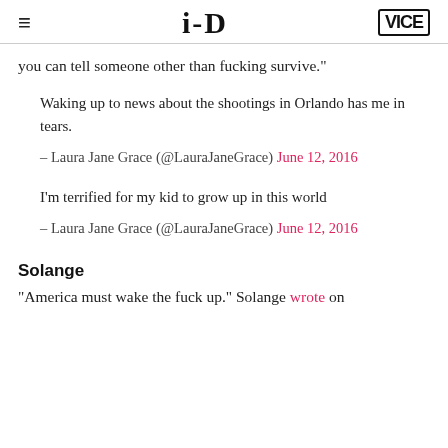≡  i-D  VICE
you can tell someone other than fucking survive."
Waking up to news about the shootings in Orlando has me in tears.

– Laura Jane Grace (@LauraJaneGrace) June 12, 2016
I'm terrified for my kid to grow up in this world

– Laura Jane Grace (@LauraJaneGrace) June 12, 2016
Solange
"America must wake the fuck up." Solange wrote on